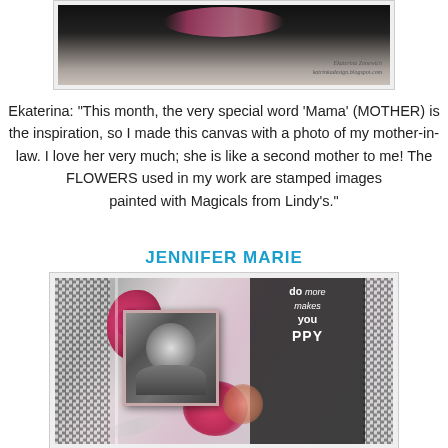[Figure (photo): Scrapbook canvas artwork by Ekaterina Zonewich featuring dark background with floral elements and photo, watermark reads 'Ekaterina Zonewich katrinkadеsign.blogspot.com']
Ekaterina: "This month, the very special word 'Mama' (MOTHER) is the inspiration, so I made this canvas with a photo of my mother-in-law. I love her very much; she is like a second mother to me! The FLOWERS used in my work are stamped images painted with Magicals from Lindy's."
JENNIFER MARIE
[Figure (photo): Scrapbook layout by Jennifer Marie featuring pink and red floral embellishments, a black and white photo of two people, decorative text 'do more makes you happy', houndstooth pattern borders, and mixed media elements on a gray background.]